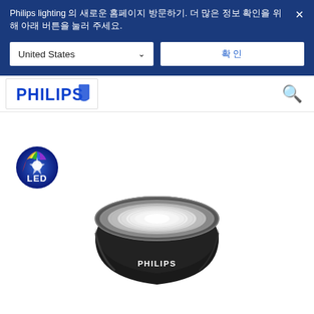Philips lighting 의 새로운 홈페이지 방문하기. 더 많은 정보 확인을 위해 아래 버튼을 눌러 주세요.
[Figure (screenshot): Country selector dropdown showing United States with chevron, and a confirm button with Korean text]
[Figure (logo): Philips logo in blue with shield shape]
[Figure (logo): LED colorful badge logo]
[Figure (photo): Philips black LED MR16 spot light bulb product photo on white background]